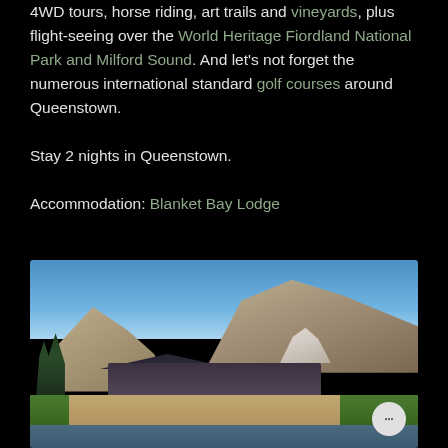4WD tours, horse riding, art trails and vineyards, plus flight-seeing over the World Heritage Fiordland National Park and Milford Sound. And let's not forget the numerous international standard golf courses around Queenstown.
Stay 2 nights in Queenstown.
Accommodation: Blanket Bay Lodge
[Figure (photo): Exterior photo of Blanket Bay Lodge with a large mountain behind, green lawns, tall trees on the left, and a waterfront in the foreground under a clear blue sky.]